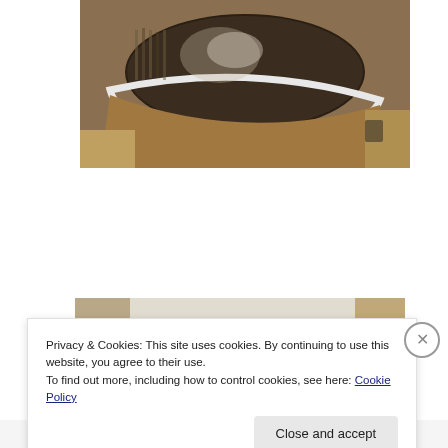[Figure (photo): Close-up photo looking down into a large shiny metal pot or bowl with reflective interior, showing reflections of a room with bookshelves and furniture below]
[Figure (photo): Partial photo of what appears to be a light-colored surface or object, partially obscured by cookie consent banner overlay]
Privacy & Cookies: This site uses cookies. By continuing to use this website, you agree to their use.
To find out more, including how to control cookies, see here: Cookie Policy
Close and accept